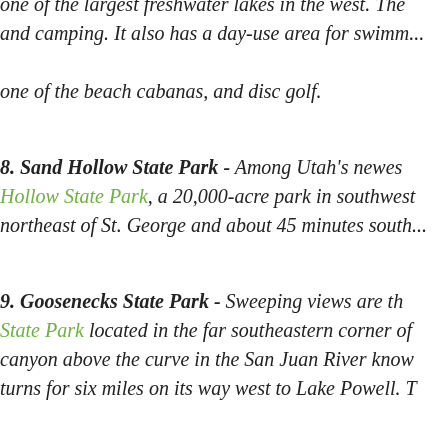one of the largest freshwater lakes in the west. The park offers boating and camping. It also has a day-use area for swimming, picnicking, renting one of the beach cabanas, and disc golf.
8. Sand Hollow State Park - Among Utah's newest state parks, Sand Hollow State Park, a 20,000-acre park in southwestern Utah, is just minutes northeast of St. George and about 45 minutes south...
9. Goosenecks State Park - Sweeping views are the hallmark of Goosenecks State Park located in the far southeastern corner of... canyon above the curve in the San Juan River know... turns for six miles on its way west to Lake Powell. T...
Looking to stay in Park City, Travel+Leisure shares... With Private Hot Tubs, Upscale Spas, Sleigh Rides... these beautiful winter lodges in the U.S., from Utah...